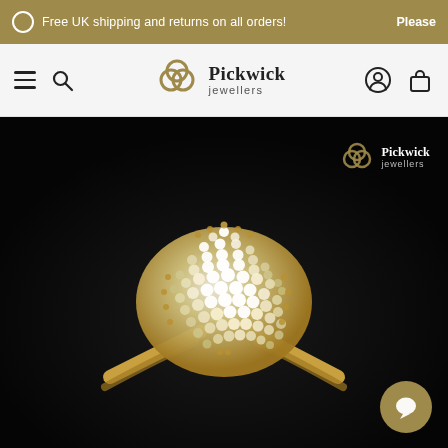Free UK shipping and returns on all orders!   Please
[Figure (logo): Pickwick Jewellers logo with three interlocking rings and nav icons (hamburger, search, user, bag)]
[Figure (photo): Close-up photograph of a gold diamond cluster ring on black background with Pickwick Jewellers watermark logo in top right]